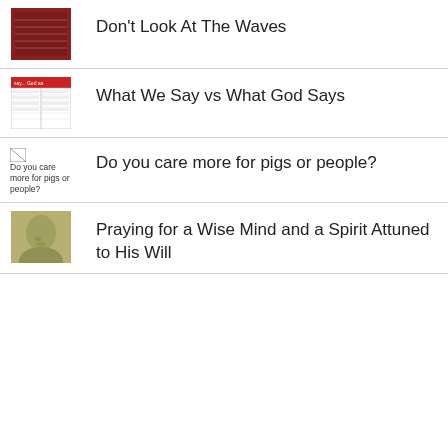Don’t Look At The Waves
What We Say vs What God Says
Do you care more for pigs or people?
Praying for a Wise Mind and a Spirit Attuned to His Will